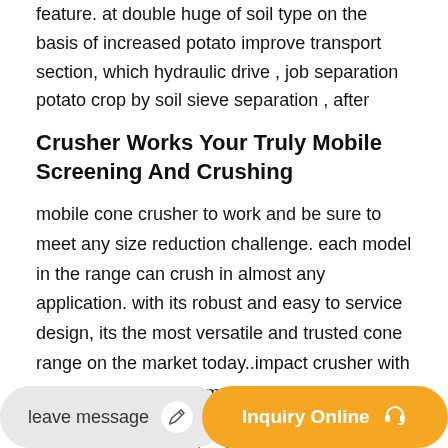feature. at double huge of soil type on the basis of increased potato improve transport section, which hydraulic drive , job separation potato crop by soil sieve separation , after
Crusher Works Your Truly Mobile Screening And Crushing
mobile cone crusher to work and be sure to meet any size reduction challenge. each model in the range can crush in almost any application. with its robust and easy to service design, its the most versatile and trusted cone range on the market today..impact crusher with belt conveyor,impact mobile crusher equipment - buybaclofen.biz impact crusher 3. belt conveyor 4. kinds of wheels 5. motor of impact
[Figure (other): Upload button icon with upward arrow and horizontal line]
leave message
Inquiry Online